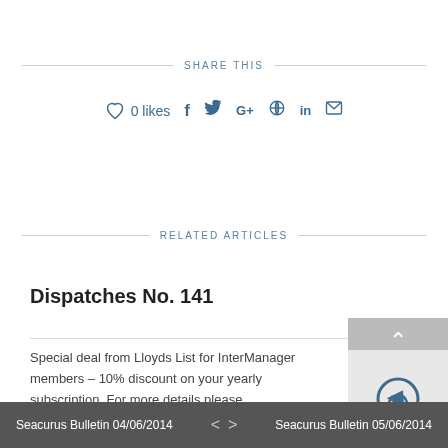SHARE THIS
♡ 0 likes  f  𝕥  G+  ⊕  in  ✉
RELATED ARTICLES
Dispatches No. 141
Special deal from Lloyds List for InterManager members – 10% discount on your yearly subscription. For more details please...
Seacurus Bulletin 04/06/2014   <   >   Seacurus Bulletin 05/06/2014